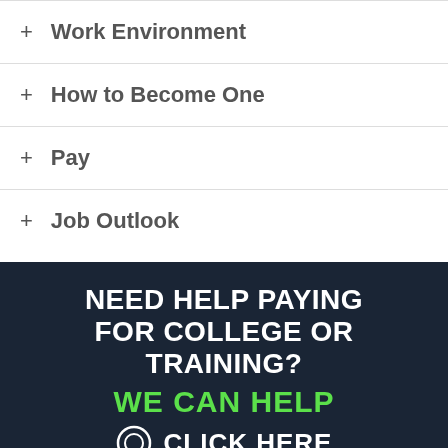+ Work Environment
+ How to Become One
+ Pay
+ Job Outlook
[Figure (infographic): Dark navy blue banner ad with bold white uppercase text reading 'NEED HELP PAYING FOR COLLEGE OR TRAINING?' followed by bright green bold text 'WE CAN HELP' and white bold text with a cursor icon 'CLICK HERE']